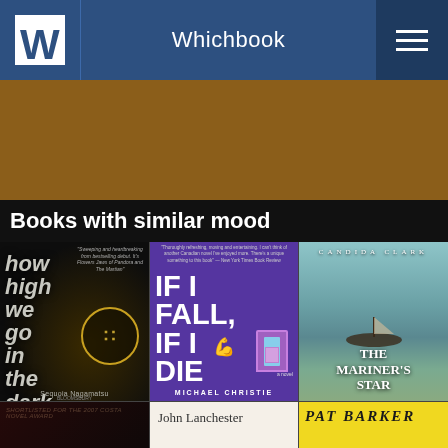Whichbook
Books with similar mood
[Figure (illustration): Book cover: 'How High We Go in the Dark' by Sequoia Nagamatsu — dark background with stylized text]
[Figure (illustration): Book cover: 'If I Fall, If I Die' by Michael Christie — purple background with large white block text]
[Figure (illustration): Book cover: 'The Mariner's Star' by Candida Clark — misty blue-green cover with a boat]
[Figure (illustration): Book cover partial (bottom row, left): dark cover with text 'SHORTLISTED FOR THE 2007 COSTA NOVEL AWARD']
[Figure (illustration): Book cover partial (bottom row, middle): cream cover showing 'John Lanchester']
[Figure (illustration): Book cover partial (bottom row, right): yellow cover showing 'PAT BARKER']